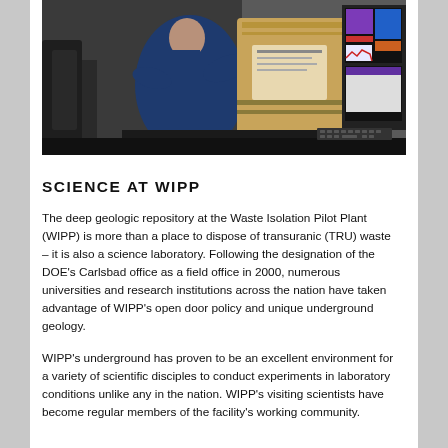[Figure (photo): A person in a dark blue jacket working with laboratory equipment including a large container and computer monitors displaying colored data screens in a facility.]
SCIENCE AT WIPP
The deep geologic repository at the Waste Isolation Pilot Plant (WIPP) is more than a place to dispose of transuranic (TRU) waste – it is also a science laboratory. Following the designation of the DOE's Carlsbad office as a field office in 2000, numerous universities and research institutions across the nation have taken advantage of WIPP's open door policy and unique underground geology.
WIPP's underground has proven to be an excellent environment for a variety of scientific disciples to conduct experiments in laboratory conditions unlike any in the nation. WIPP's visiting scientists have become regular members of the facility's working community.